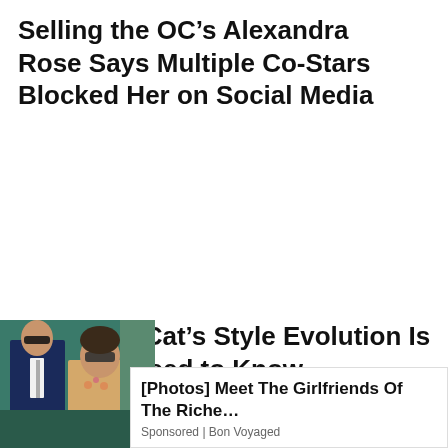Selling the OC's Alexandra Rose Says Multiple Co-Stars Blocked Her on Social Media
Why Doja Cat's Style Evolution Is One You Need to Know
[Figure (photo): Advertisement photo showing a man in a suit and a woman in sunglasses]
[Photos] Meet The Girlfriends Of The Riche…
Sponsored | Bon Voyaged